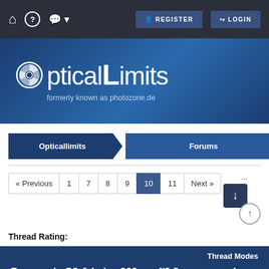Navigation bar with home, help, chat icons, REGISTER and LOGIN buttons
[Figure (logo): OpticalLimits logo with camera shutter icon, formerly known as photozone.de]
Opticallimits   Forums
« Previous  1  7  8  9  10  11  Next »
Thread Rating:
Panasonic G9 & Leica 200mm f/2.8 announced
Thread Modes
Brightcolours   Posts: 6,716